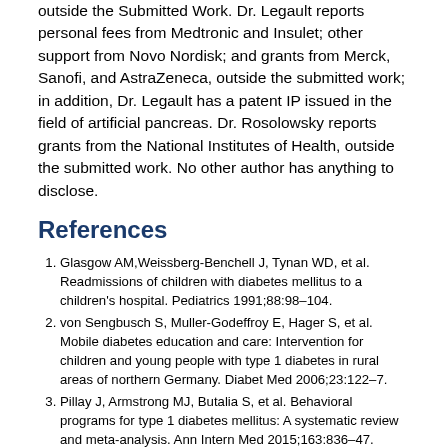outside the submitted work. Dr. Legault reports personal fees from Medtronic and Insulet; other support from Novo Nordisk; and grants from Merck, Sanofi, and AstraZeneca, outside the submitted work; in addition, Dr. Legault has a patent IP issued in the field of artificial pancreas. Dr. Rosolowsky reports grants from the National Institutes of Health, outside the submitted work. No other author has anything to disclose.
References
Glasgow AM, Weissberg-Benchell J, Tynan WD, et al. Readmissions of children with diabetes mellitus to a children's hospital. Pediatrics 1991;88:98–104.
von Sengbusch S, Muller-Godeffroy E, Hager S, et al. Mobile diabetes education and care: Intervention for children and young people with type 1 diabetes in rural areas of northern Germany. Diabet Med 2006;23:122–7.
Pillay J, Armstrong MJ, Butalia S, et al. Behavioral programs for type 1 diabetes mellitus: A systematic review and meta-analysis. Ann Intern Med 2015;163:836–47.
Price KL, Knowles JA, Fox M, et al. Effectiveness of the Kids...